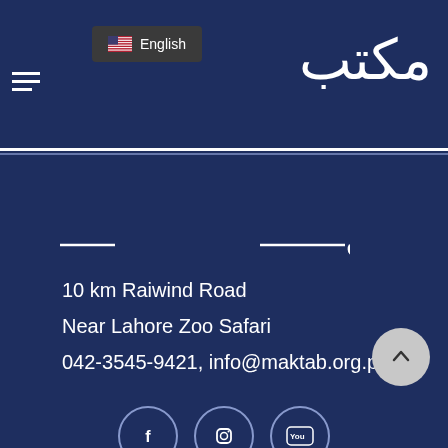[Figure (screenshot): Website header with dark navy background. Hamburger menu icon on left, US flag English language dropdown, and Arabic script logo (مكتب) on right.]
English
مكتب (Arabic logo in header)
[Figure (logo): Arabic script logo مكتب with decorative lines, white on dark navy, in page body section]
10 km Raiwind Road
Near Lahore Zoo Safari
042-3545-9421, info@maktab.org.pk
[Figure (illustration): Scroll-to-top button: light gray circle with upward chevron arrow, bottom right corner]
[Figure (illustration): Social media icons row at bottom: Facebook, Instagram, YouTube circles with outlines, partially visible]